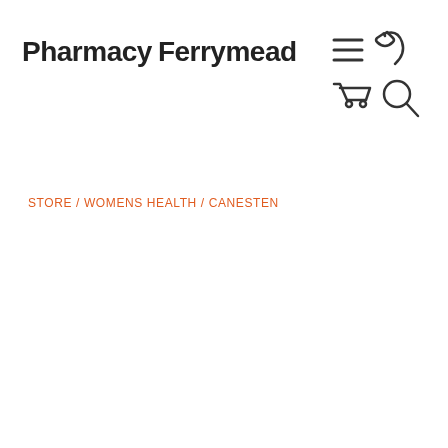[Figure (logo): Pharmacy @ Ferrymead logo with orange basketball-style @ symbol and bold text]
[Figure (other): Navigation icons: hamburger menu, phone, shopping cart, search]
STORE / WOMENS HEALTH / CANESTEN